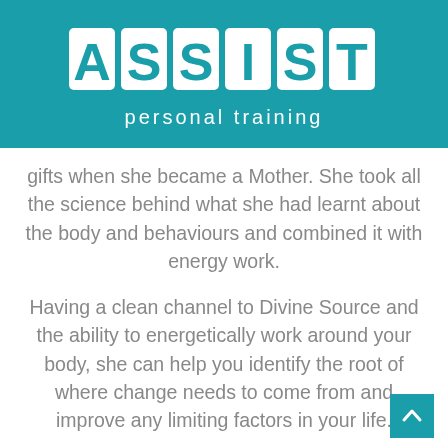[Figure (logo): ASSIST personal training logo — white blocky letters on teal/dark cyan background with 'personal training' subtitle in white below]
gifts when she became a Mother. She took all the science behind what she had learnt about the body and behaviours and combined it with energy work.
Having a clean channel to Divine Source and the ability to energetically work around your body, she can help you identify the root of where change needs to come from and improve any limiting factors in your life.